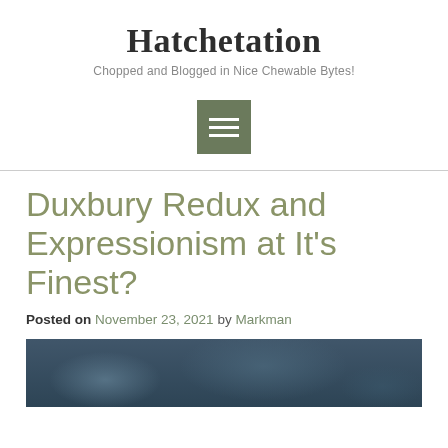Hatchetation
Chopped and Blogged in Nice Chewable Bytes!
[Figure (other): Hamburger menu icon — three horizontal white bars on a sage green square background]
Duxbury Redux and Expressionism at It's Finest?
Posted on November 23, 2021 by Markman
[Figure (photo): Top portion of a dark blue-grey moody cloudy sky photograph]